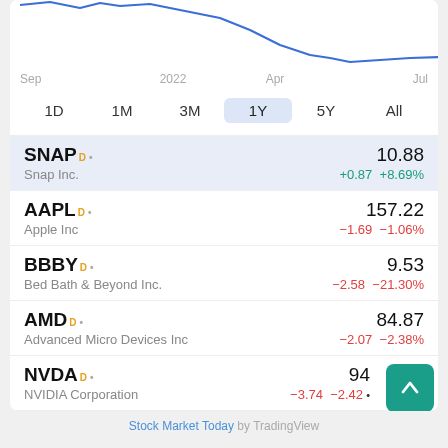[Figure (line-chart): Stock price line chart (1Y) showing a blue line trending downward from top-left to lower-right, with x-axis labels Sep, 2022, Apr, Jul]
1D  1M  3M  1Y  5Y  All
| Ticker | Name | Price | Change | Change% |
| --- | --- | --- | --- | --- |
| SNAP D | Snap Inc. | 10.88 | +0.87 | +8.69% |
| AAPL D | Apple Inc | 157.22 | -1.69 | -1.06% |
| BBBY D | Bed Bath & Beyond Inc. | 9.53 | -2.58 | -21.30% |
| AMD D | Advanced Micro Devices Inc | 84.87 | -2.07 | -2.38% |
| NVDA D | NVIDIA Corporation | ..94 | -3.74 | -2.42... |
Stock Market Today by TradingView